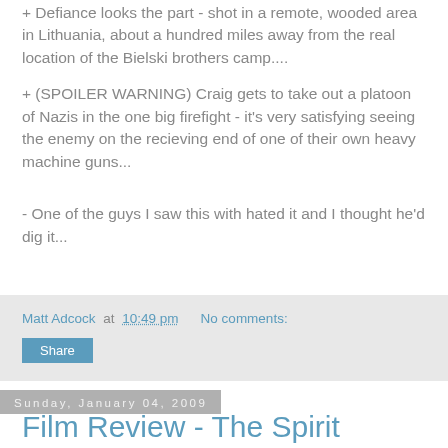+ Defiance looks the part - shot in a remote, wooded area in Lithuania, about a hundred miles away from the real location of the Bielski brothers camp....
+ (SPOILER WARNING) Craig gets to take out a platoon of Nazis in the one big firefight - it's very satisfying seeing the enemy on the recieving end of one of their own heavy machine guns...
- One of the guys I saw this with hated it and I thought he'd dig it...
Matt Adcock at 10:49 pm   No comments:
Share
Sunday, January 04, 2009
Film Review - The Spirit